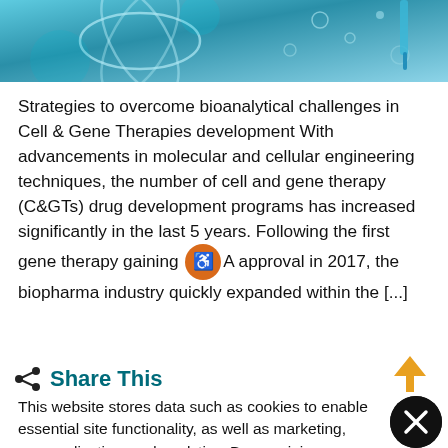[Figure (photo): Header image showing DNA helix, molecular/biotech imagery with blue/teal tones and laboratory equipment]
Strategies to overcome bioanalytical challenges in Cell & Gene Therapies development With advancements in molecular and cellular engineering techniques, the number of cell and gene therapy (C&GTs) drug development programs has increased significantly in the last 5 years. Following the first gene therapy gaining FDA approval in 2017, the biopharma industry quickly expanded within the [...]
Share This
This website stores data such as cookies to enable essential site functionality, as well as marketing, personalization, and analytics. By remaining on this website you indicate your consent. Data Storage Policy